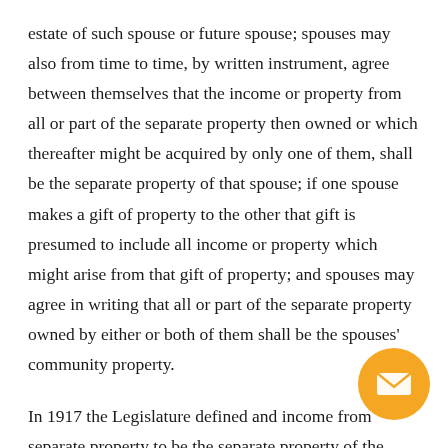estate of such spouse or future spouse; spouses may also from time to time, by written instrument, agree between themselves that the income or property from all or part of the separate property then owned or which thereafter might be acquired by only one of them, shall be the separate property of that spouse; if one spouse makes a gift of property to the other that gift is presumed to include all income or property which might arise from that gift of property; and spouses may agree in writing that all or part of the separate property owned by either or both of them shall be the spouses' community property.
In 1917 the Legislature defined and income from separate property to be the separate property of the owner spouse. In Arnold v. Leonard, 114 Tex. 535,273 S.W. 799 (1925), the Supreme Court held that the Legislature did not have the constitutional authority to characterize the income from separate property as the owner's separate property. The court